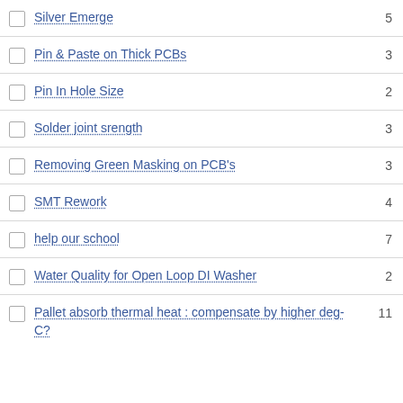Silver Emerge
Pin & Paste on Thick PCBs
Pin In Hole Size
Solder joint srength
Removing Green Masking on PCB's
SMT Rework
help our school
Water Quality for Open Loop DI Washer
Pallet absorb thermal heat : compensate by higher deg-C?